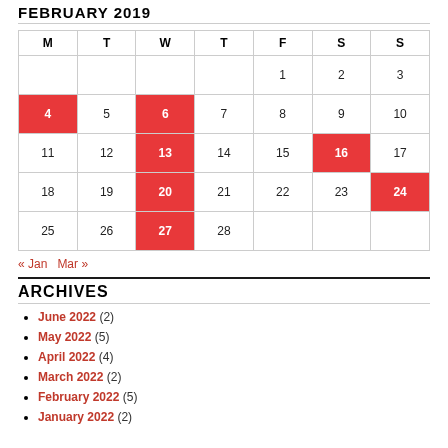FEBRUARY 2019
| M | T | W | T | F | S | S |
| --- | --- | --- | --- | --- | --- | --- |
|  |  |  |  | 1 | 2 | 3 |
| 4 | 5 | 6 | 7 | 8 | 9 | 10 |
| 11 | 12 | 13 | 14 | 15 | 16 | 17 |
| 18 | 19 | 20 | 21 | 22 | 23 | 24 |
| 25 | 26 | 27 | 28 |  |  |  |
« Jan   Mar »
ARCHIVES
June 2022 (2)
May 2022 (5)
April 2022 (4)
March 2022 (2)
February 2022 (5)
January 2022 (2)